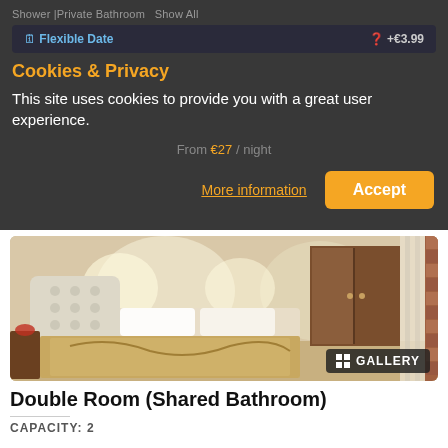Shower | Private Bathroom   Show All
Cookies & Privacy
Flexible Date   +€3.99
From €27 / night
This site uses cookies to provide you with a great user experience.
More information
Accept
[Figure (photo): Hotel double room with a large bed with white tufted headboard, wooden wardrobe, wall lights, and curtains. Gallery badge visible in bottom right corner.]
Double Room (Shared Bathroom)
CAPACITY: 2